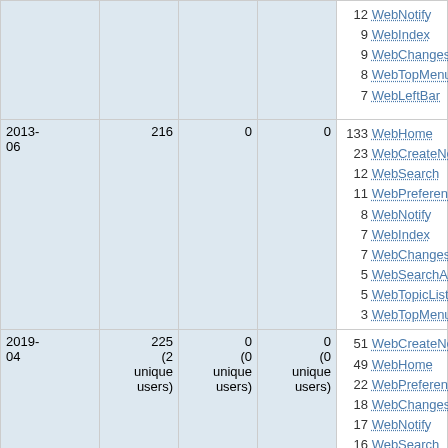| Date | Views | Col3 | Col4 | Top pages |
| --- | --- | --- | --- | --- |
|  |  |  |  | 12 WebNotify
9 WebIndex
9 WebChanges
8 WebTopMenu
7 WebLeftBar |
| 2013-06 | 216 | 0 | 0 | 133 WebHome
23 WebCreateNewTopic
12 WebSearch
11 WebPreferences
8 WebNotify
7 WebIndex
7 WebChanges
5 WebSearchAdvanced
5 WebTopicList
3 WebTopMenu |
| 2019-04 | 225 (2 unique users) | 0 (0 unique users) | 0 (0 unique users) | 51 WebCreateNewTopic
49 WebHome
22 WebPreferences
18 WebChanges
17 WebNotify
16 WebSearch
13 WebIndex |